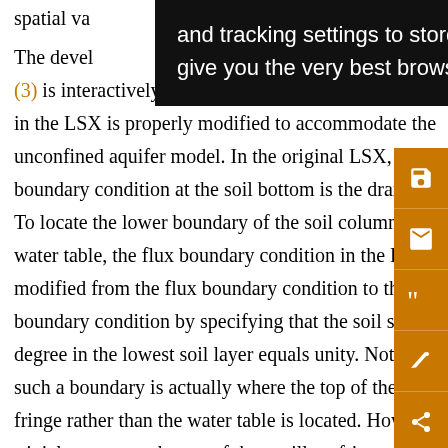spatial va… osed in the compa… The devel… and (3) is interactively coupled with the LSX. The soil mod… in the LSX is properly modified to accommodate the unconfined aquifer model. In the original LSX, the boundary condition at the soil bottom is the drainage flu… To locate the lower boundary of the soil column at the water table, the flux boundary condition in the LSX is modified from the flux boundary condition to the head boundary condition by specifying that the soil saturation degree in the lowest soil layer equals unity. Notice that such a boundary is actually where the top of the capillary fringe rather than the water table is located. However, it is trivial to convert the top of the capillary fringe to the
[Figure (screenshot): Cookie/tracking settings overlay popup with dark background and white text: 'and tracking settings to store information that help give you the very best browsing experience.']